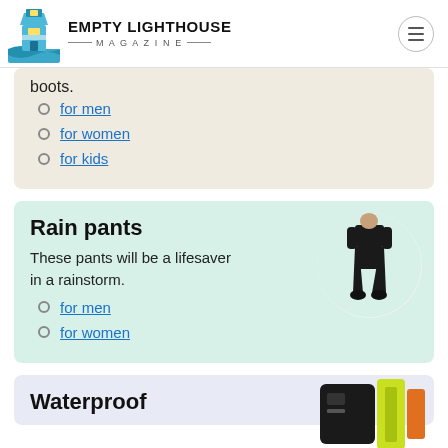EMPTY LIGHTHOUSE MAGAZINE
boots.
for men
for women
for kids
Rain pants
These pants will be a lifesaver in a rainstorm.
for men
for women
Waterproof